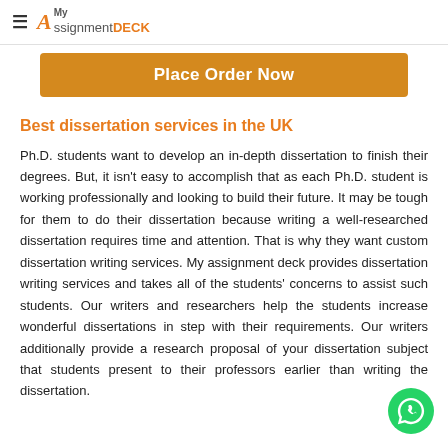My AssignmentDECK
[Figure (other): Orange 'Place Order Now' button]
Best dissertation services in the UK
Ph.D. students want to develop an in-depth dissertation to finish their degrees. But, it isn't easy to accomplish that as each Ph.D. student is working professionally and looking to build their future. It may be tough for them to do their dissertation because writing a well-researched dissertation requires time and attention. That is why they want custom dissertation writing services. My assignment deck provides dissertation writing services and takes all of the students' concerns to assist such students. Our writers and researchers help the students increase wonderful dissertations in step with their requirements. Our writers additionally provide a research proposal of your dissertation subject that students present to their professors earlier than writing the dissertation.